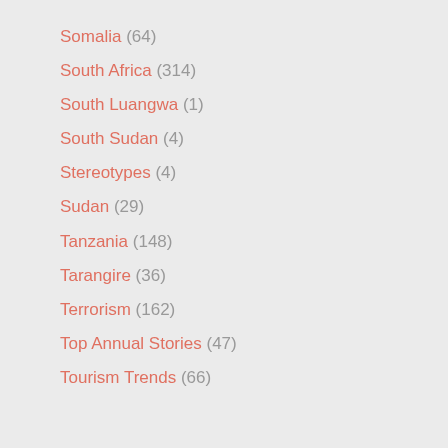Somalia (64)
South Africa (314)
South Luangwa (1)
South Sudan (4)
Stereotypes (4)
Sudan (29)
Tanzania (148)
Tarangire (36)
Terrorism (162)
Top Annual Stories (47)
Tourism Trends (66)